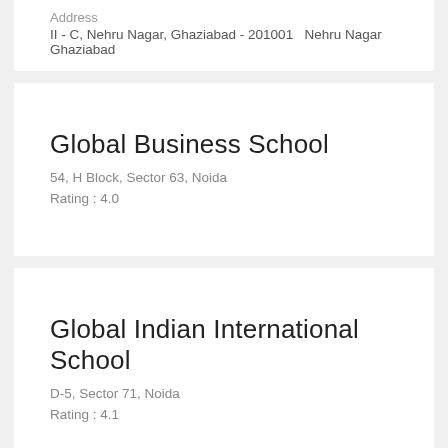Address
II - C, Nehru Nagar, Ghaziabad - 201001   Nehru Nagar
Ghaziabad
Global Business School
54, H Block, Sector 63, Noida
Rating : 4.0
Global Indian International School
D-5, Sector 71, Noida
Rating : 4.1